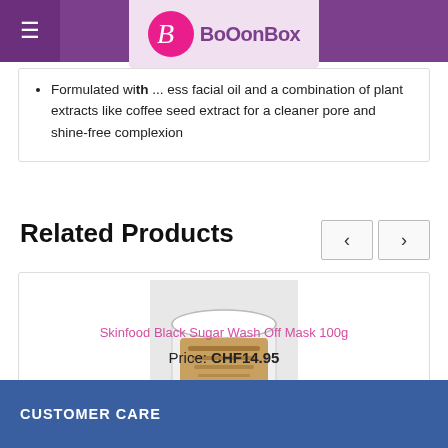BoOonBox
Formulated with ... less facial oil and a combination of plant extracts like coffee seed extract for a cleaner pore and shine-free complexion
Related Products
[Figure (photo): Product photo of a white jar of Skinfood Black Sugar Wash Off Mask 100g]
Skinfood Black Sugar Wash Off Mask 100g
Price: CHF14.95
CUSTOMER CARE